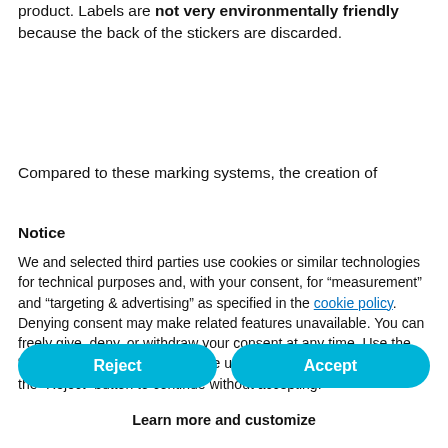product. Labels are not very environmentally friendly because the back of the stickers are discarded.
Compared to these marking systems, the creation of
Notice
We and selected third parties use cookies or similar technologies for technical purposes and, with your consent, for “measurement” and “targeting & advertising” as specified in the cookie policy. Denying consent may make related features unavailable. You can freely give, deny, or withdraw your consent at any time. Use the “Accept” button to consent to the use of such technologies. Use the “Reject” button to continue without accepting.
Reject
Accept
Learn more and customize